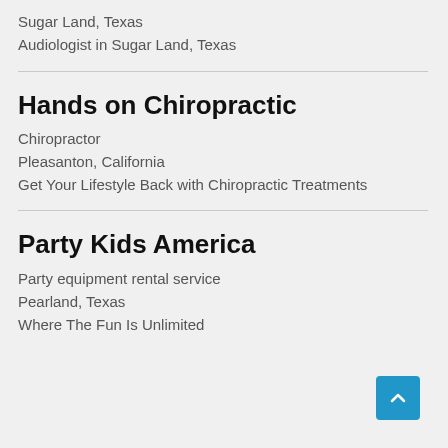Sugar Land, Texas
Audiologist in Sugar Land, Texas
Hands on Chiropractic
Chiropractor
Pleasanton, California
Get Your Lifestyle Back with Chiropractic Treatments
Party Kids America
Party equipment rental service
Pearland, Texas
Where The Fun Is Unlimited